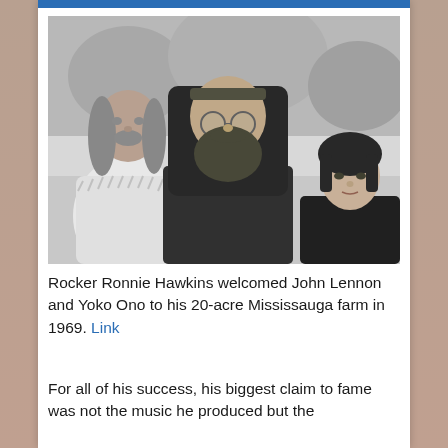[Figure (photo): Black and white photograph of three people standing outdoors. On the left is a man with long hair and a fur/shaggy coat. In the center is a bearded man with long hair wearing a headband and round glasses (John Lennon). On the right is a woman with dark short hair (Yoko Ono) wearing a dark coat.]
Rocker Ronnie Hawkins welcomed John Lennon and Yoko Ono to his 20-acre Mississauga farm in 1969. Link
For all of his success, his biggest claim to fame was not the music he produced but the